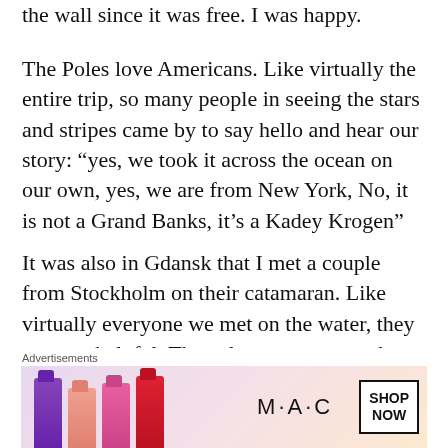the wall since it was free. I was happy.
The Poles love Americans.  Like virtually the entire trip, so many people in seeing the stars and stripes came by to say hello and hear our story: “yes, we took it across the ocean on our own, yes, we are from New York, No, it is not a Grand Banks, it’s a Kadey Krogen”
It was also in Gdansk that I met a couple from Stockholm on their catamaran.  Like virtually everyone we met on the water, they were so helpful.  They also gave me good advice about Navionics charts in that “Europe HD” was detailed enough to use and there was now no need for paper
Advertisements
[Figure (photo): MAC Cosmetics advertisement showing colorful lipsticks on the left, MAC logo in the center, and a SHOP NOW button on the right]